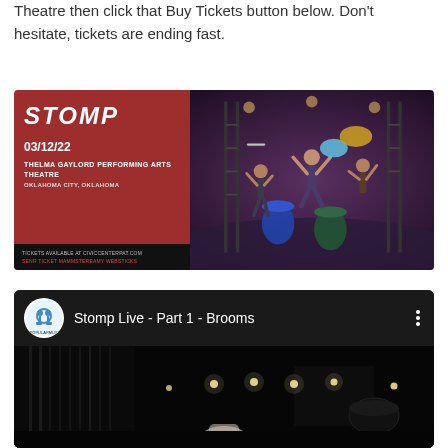Theatre then click that Buy Tickets button below. Don't hesitate, tickets are ending fast.
[Figure (photo): STOMP promotional card. Left side: dark red background with white bold italic text 'STOMP', date '03/12/22', venue 'THELMA GAYLORD PERFORMING ARTS THEATRE', location 'OKLAHOMA CITY, OKLAHOMA', black bar at bottom with text 'TICKETS AVAILABLE AT CIVICCENTERPAT.COM'. Right side: photo of STOMP performers on stage with colorful props and drums.]
[Figure (screenshot): YouTube video thumbnail for 'Stomp Live - Part 1 - Brooms'. Header shows circular logo with headphones icon for MPOPULARMUSIC channel, video title text, and three-dot menu. Thumbnail shows dark stage scene from the STOMP performance.]